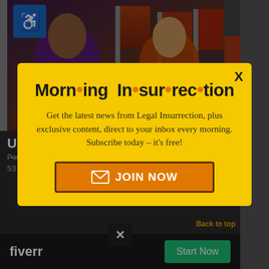[Figure (screenshot): Background of a news website with a TV screenshot showing two women on a news panel with American flags, overlaid by a modal popup and a Fiverr advertisement bar at the bottom.]
Morn·ing In·sur·rec·tion
Get the latest news from Legal Insurrection, plus exclusive content, direct to your inbox every morning. Subscribe today – it's free!
JOIN NOW
Upset
Posted by Mike LaChance on November 03, 2021
53 Co
fiverr
Start Now